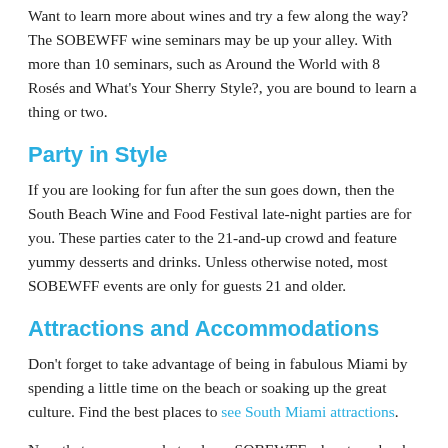Want to learn more about wines and try a few along the way? The SOBEWFF wine seminars may be up your alley. With more than 10 seminars, such as Around the World with 8 Rosés and What's Your Sherry Style?, you are bound to learn a thing or two.
Party in Style
If you are looking for fun after the sun goes down, then the South Beach Wine and Food Festival late-night parties are for you. These parties cater to the 21-and-up crowd and feature yummy desserts and drinks. Unless otherwise noted, most SOBEWFF events are only for guests 21 and older.
Attractions and Accommodations
Don't forget to take advantage of being in fabulous Miami by spending a little time on the beach or soaking up the great culture. Find the best places to see South Miami attractions.
Now that you are ready to plan a SOBEWFF adventure, book